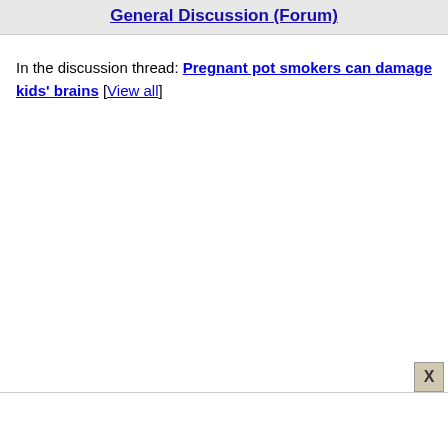General Discussion (Forum)
In the discussion thread: Pregnant pot smokers can damage kids' brains [View all]